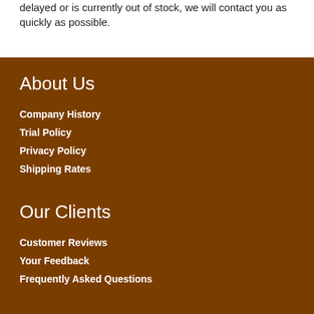delayed or is currently out of stock, we will contact you as quickly as possible.
About Us
Company History
Trial Policy
Privacy Policy
Shipping Rates
Our Clients
Customer Reviews
Your Feedback
Frequently Asked Questions